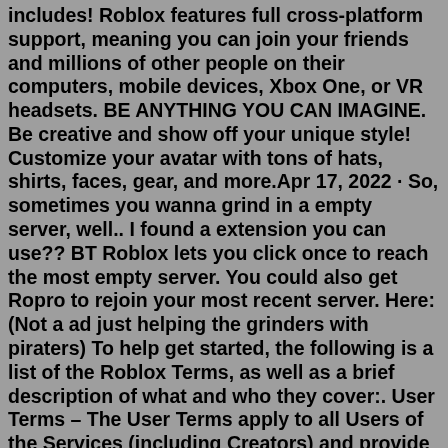includes! Roblox features full cross-platform support, meaning you can join your friends and millions of other people on their computers, mobile devices, Xbox One, or VR headsets. BE ANYTHING YOU CAN IMAGINE. Be creative and show off your unique style! Customize your avatar with tons of hats, shirts, faces, gear, and more.Apr 17, 2022 · So, sometimes you wanna grind in a empty server, well.. I found a extension you can use?? BT Roblox lets you click once to reach the most empty server. You could also get Ropro to rejoin your most recent server. Here: (Not a ad just helping the grinders with piraters) To help get started, the following is a list of the Roblox Terms, as well as a brief description of what and who they cover:. User Terms – The User Terms apply to all Users of the Services (including Creators) and provide an overview and the associated rules for things like (i) account creation, (ii) using Robux, (iii) trading Virtual Items, and (iv) activities prohibited on the Platform. Thanks for